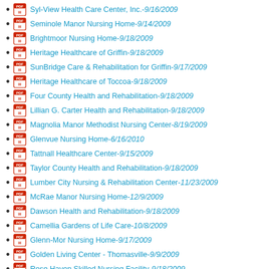Syl-View Health Care Center, Inc.-9/16/2009
Seminole Manor Nursing Home-9/14/2009
Brightmoor Nursing Home-9/18/2009
Heritage Healthcare of Griffin-9/18/2009
SunBridge Care & Rehabilitation for Griffin-9/17/2009
Heritage Healthcare of Toccoa-9/18/2009
Four County Health and Rehabilitation-9/18/2009
Lillian G. Carter Health and Rehabilitation-9/18/2009
Magnolia Manor Methodist Nursing Center-8/19/2009
Glenvue Nursing Home-6/16/2010
Tattnall Healthcare Center-9/15/2009
Taylor County Health and Rehabilitation-9/18/2009
Lumber City Nursing & Rehabilitation Center-11/23/2009
McRae Manor Nursing Home-12/9/2009
Dawson Health and Rehabilitation-9/18/2009
Camellia Gardens of Life Care-10/8/2009
Glenn-Mor Nursing Home-9/17/2009
Golden Living Center - Thomasville-9/9/2009
Rose Haven Skilled Nursing Facility-9/18/2009
Southwestern Development Center-1/28/2010
Thomasville Nursing & Rehab Center-9/10/2009
Golden Living Center - Tifton-12/22/2009
Tift Health Care, Inc.-9/18/2009
Tift Regional Medical Center-11/30/2009
Bethany Home Inc.-9/16/2009
Meadows Nursing Center-8/13/2009
Toombs Health and Rehabilitation-9/18/2009
Chatuge Regional Nursing Home-9/3/2009